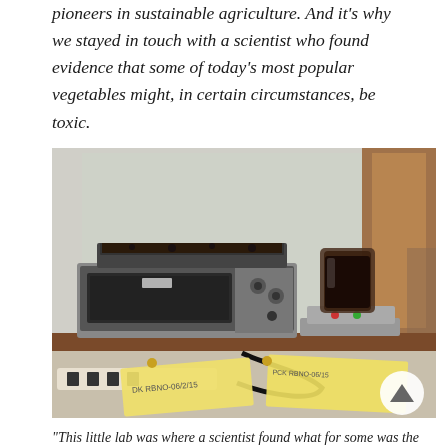pioneers in sustainable agriculture. And it's why we stayed in touch with a scientist who found evidence that some of today's most popular vegetables might, in certain circumstances, be toxic.
[Figure (photo): A laboratory or kitchen workspace showing a toaster oven and a hot plate with a dark liquid in a glass container on top. In front are two yellow sticky notes labeled 'DK RBNO-06/2/15' and 'PCK RBNO-06/15'. The background has plastic sheeting and wooden cabinetry. A power strip is visible at the bottom left.]
"This little lab was where a scientist found what for some was the answer to a